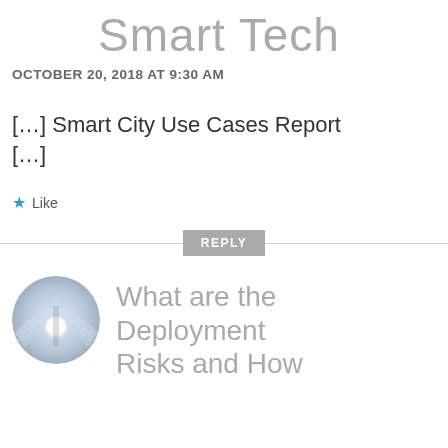Smart Tech
OCTOBER 20, 2018 AT 9:30 AM
[…] Smart City Use Cases Report […]
Like
REPLY
[Figure (photo): Circular avatar image showing a light beam or rainbow-like lens flare effect with a bright white center glow against a light sky background]
What are the Deployment Risks and How